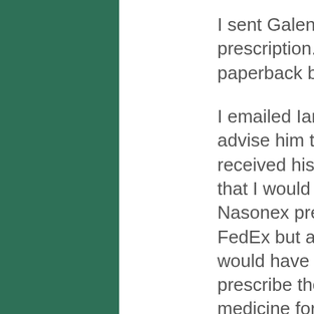I sent Galen his Nasonex prescription. I put it inside a paperback book.
I emailed Ian Stewart to advise him that Galen had received his antibiotics and that I would be sending his Nasonex prescription by FedEx but asked if he would have a UK doctor to prescribe the same medicine for Galen in case the package